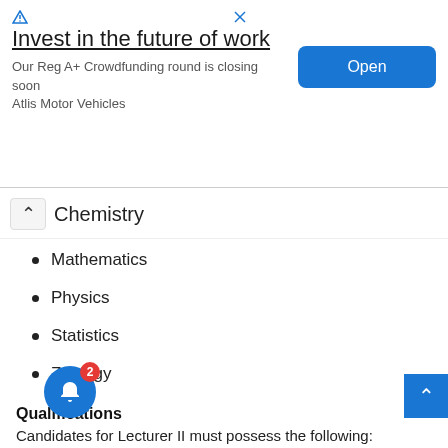[Figure (other): Advertisement banner: 'Invest in the future of work' with subtitle 'Our Reg A+ Crowdfunding round is closing soon / Atlis Motor Vehicles' and an 'Open' button. Contains ad icons (triangle/arrow and X).]
Chemistry
Mathematics
Physics
Statistics
Zoology
Qualifications
Candidates for Lecturer II must possess the following:
Doctorate degree from a recognized University
Good Master's degree from a recognized University with a minimum of three (3) years cognate teaching and research experience